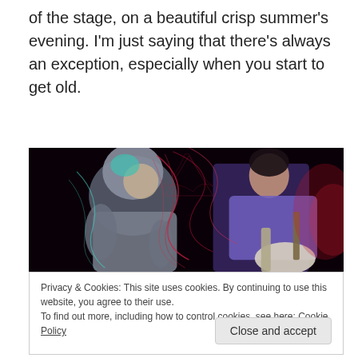of the stage, on a beautiful crisp summer's evening. I'm just saying that there's always an exception, especially when you start to get old.
[Figure (photo): Two musicians performing on stage in dramatic lighting with light trails. One person on the left wearing a grey hoodie, another on the right in a purple top playing guitar.]
Privacy & Cookies: This site uses cookies. By continuing to use this website, you agree to their use.
To find out more, including how to control cookies, see here: Cookie Policy